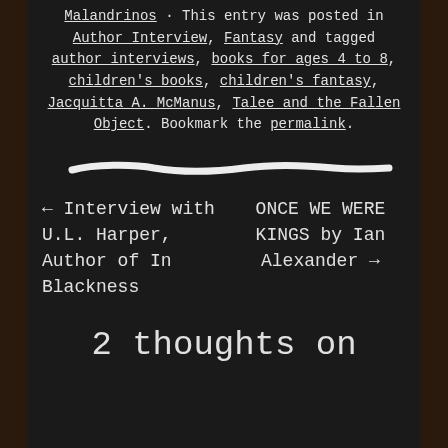Malandrinos · This entry was posted in Author Interview, Fantasy and tagged author interviews, books for ages 4 to 8, children's books, children's fantasy, Jacquitta A. McManus, Talee and the Fallen Object. Bookmark the permalink.
[Figure (illustration): A hand-drawn white chalk horizontal line on a dark chalkboard background]
← Interview with U.L. Harper, Author of In Blackness
ONCE WE WERE KINGS by Ian Alexander →
2 thoughts on